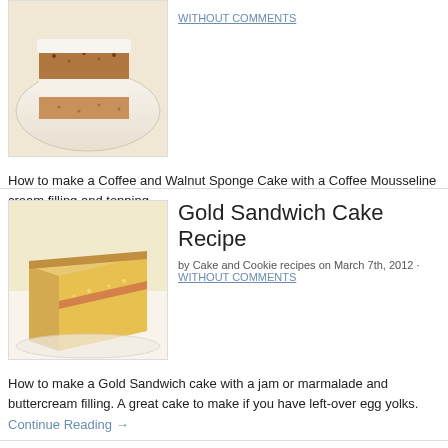[Figure (photo): Sliced coffee and walnut sponge cake on a plate, showing layers with cream filling]
Gold Sandwich Cake Recipe
by Cake and Cookie recipes on March 7th, 2012 · WITHOUT COMMENTS
[Figure (photo): Sliced gold sandwich cake on a plate showing jam or marmalade filling]
How to make a Coffee and Walnut Sponge Cake with a Coffee Mousseline cream filling and topping.
Continue Reading →
How to make a Gold Sandwich cake with a jam or marmalade and buttercream filling. A great cake to make if you have left-over egg yolks.
Continue Reading →